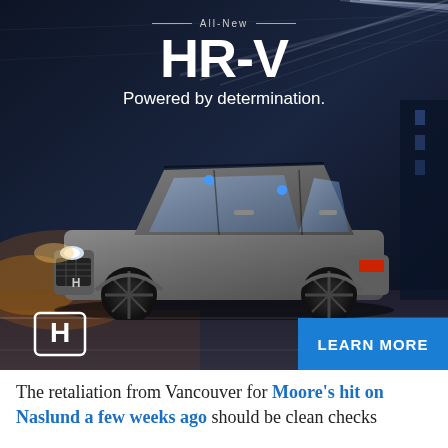[Figure (photo): Honda HR-V advertisement. Dark blue/black tunnel background with motion blur speed lines. A gray Honda HR-V SUV driving on a road. White text reads 'All-New HR-V Powered by determination.' Honda logo in lower left. Blue 'LEARN MORE' button partially visible at lower right.]
The retaliation from Vancouver for Moore's hit on Naslund a few weeks ago should be clean checks